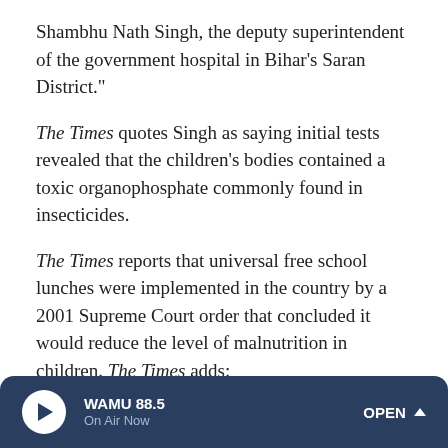Shambhu Nath Singh, the deputy superintendent of the government hospital in Bihar's Saran District."
The Times quotes Singh as saying initial tests revealed that the children's bodies contained a toxic organophosphate commonly found in insecticides.
The Times reports that universal free school lunches were implemented in the country by a 2001 Supreme Court order that concluded it would reduce the level of malnutrition in children. The Times adds:
"In Bihar alone, 20 million children participate in the program, which is administered by state officials.
WAMU 88.5 On Air Now OPEN